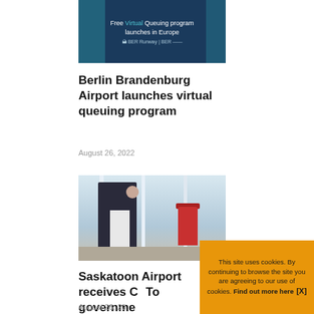[Figure (photo): Banner image for Berlin Brandenburg Airport virtual queuing article showing dark blue background with text 'Free Virtual Queuing program launches in Europe' and BER Runway | BER logo]
Berlin Brandenburg Airport launches virtual queuing program
August 26, 2022
[Figure (photo): Photo of a person at a podium inside an airport terminal with large windows, a red waste bin visible on the right]
Saskatoon Airport receives C... government...
August 26, 20...
This site uses cookies. By continuing to browse the site you are agreeing to our use of cookies. Find out more here [X]